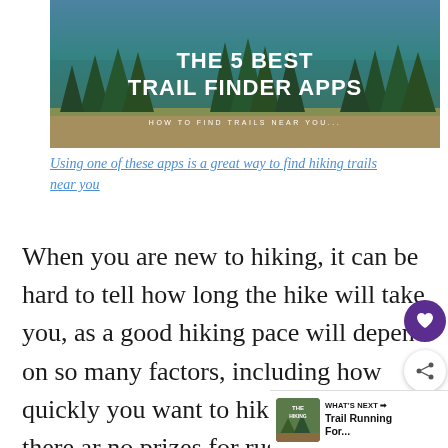[Figure (photo): Banner image of a mountain lake surrounded by pine trees with text overlay reading 'THE 5 BEST TRAIL FINDER APPS' and subtitle 'HOW TO FIND TRAILS NEAR YOU']
Using one of these apps is a great way to find hiking trails near you
When you are new to hiking, it can be hard to tell how long the hike will take you, as a good hiking pace will depend on so many factors, including how quickly you want to hike (because there are no prizes for rushing along the trail, if you like to take your time out in nature).